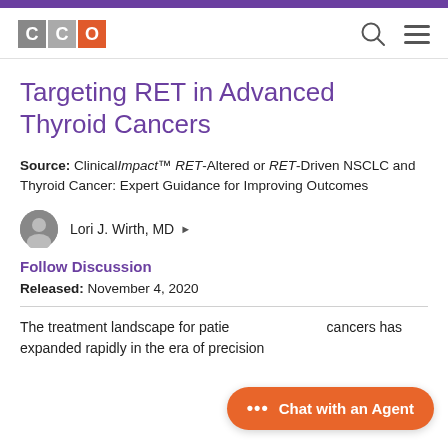[Figure (logo): CCO logo with two gray C squares and an orange O square]
Targeting RET in Advanced Thyroid Cancers
Source: ClinicalImpact™ RET-Altered or RET-Driven NSCLC and Thyroid Cancer: Expert Guidance for Improving Outcomes
Lori J. Wirth, MD ▶
Follow Discussion
Released: November 4, 2020
The treatment landscape for patients with thyroid cancers has expanded rapidly in the era of precision